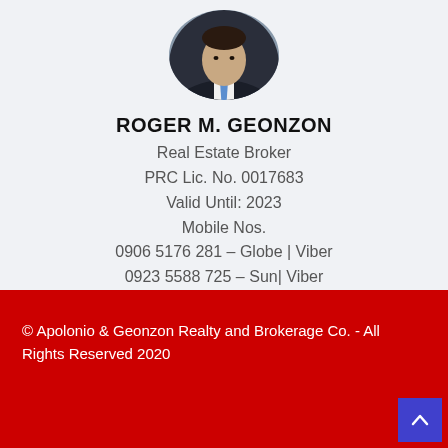[Figure (photo): Circular profile photo of Roger M. Geonzon, a man in a dark suit with a blue tie]
ROGER M. GEONZON
Real Estate Broker
PRC Lic. No. 0017683
Valid Until: 2023
Mobile Nos.
0906 5176 281 – Globe | Viber
0923 5588 725 – Sun| Viber
© Apolonio & Geonzon Realty and Brokerage Co. - All Rights Reserved 2020